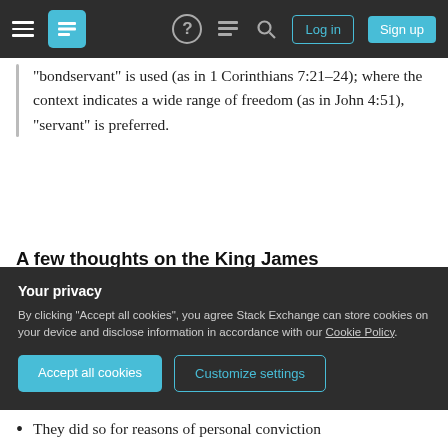Stack Exchange navigation bar with hamburger menu, logo, help, chat, search icons, Log in and Sign up buttons
“bondservant” is used (as in 1 Corinthians 7:21–24); where the context indicates a wide range of freedom (as in John 4:51), “servant” is preferred.
A few thoughts on the King James
The above answer only applies to recent translations. The 1611 King James Version obvious did not make its decisions based on the later American slavery. Ultimately, it speculation to define their motives for mostly avoiding
Your privacy
By clicking “Accept all cookies”, you agree Stack Exchange can store cookies on your device and disclose information in accordance with our Cookie Policy.
They did so for reasons of personal conviction